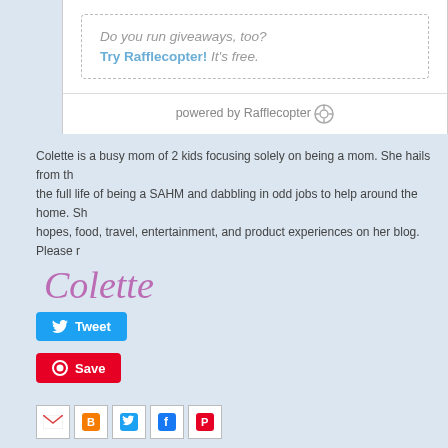[Figure (screenshot): Rafflecopter giveaway widget showing dashed box with 'Do you run giveaways, too? Try Rafflecopter! It's free.' and 'powered by Rafflecopter' footer bar]
Colette is a busy mom of 2 kids focusing solely on being a mom. She hails from th... the full life of being a SAHM and dabbling in odd jobs to help around the home. Sh... hopes, food, travel, entertainment, and product experiences on her blog. Please r...
[Figure (illustration): Cursive signature reading 'Colette' in purple/magenta color]
[Figure (screenshot): Blue Tweet button with Twitter bird icon]
[Figure (screenshot): Red Save button with Pinterest circle icon]
[Figure (screenshot): Row of social share icons: Gmail, Blogger, Twitter, Facebook, Pinterest]